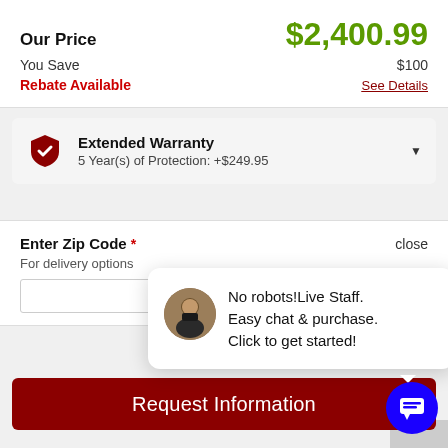Our Price   $2,400.99
You Save   $100
Rebate Available   See Details
Extended Warranty
5 Year(s) of Protection: +$249.95
Enter Zip Code *   close
For delivery options
No robots! Live Staff.
Easy chat & purchase.
Click to get started!
Request Information